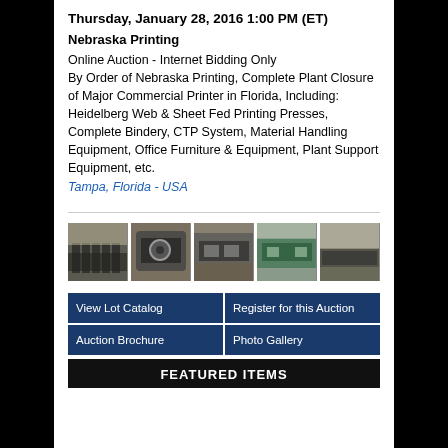Thursday, January 28, 2016 1:00 PM (ET)
Nebraska Printing
Online Auction - Internet Bidding Only
By Order of Nebraska Printing, Complete Plant Closure of Major Commercial Printer in Florida, Including: Heidelberg Web & Sheet Fed Printing Presses, Complete Bindery, CTP System, Material Handling Equipment, Office Furniture & Equipment, Plant Support Equipment, etc.
Tampa, Florida - USA
[Figure (photo): Five thumbnail photos of printing equipment in a warehouse/plant setting]
View Lot Catalog
Register for this Auction
Auction Brochure
Photo Gallery
FEATURED ITEMS